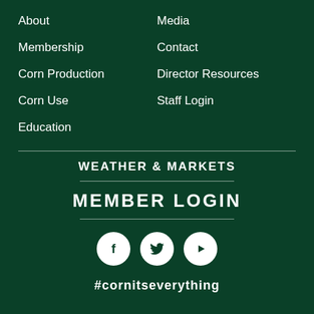About
Membership
Corn Production
Corn Use
Education
Media
Contact
Director Resources
Staff Login
WEATHER & MARKETS
MEMBER LOGIN
[Figure (infographic): Three social media icons in white circles: Facebook (f), Twitter (bird), YouTube (play button)]
#cornitseverything